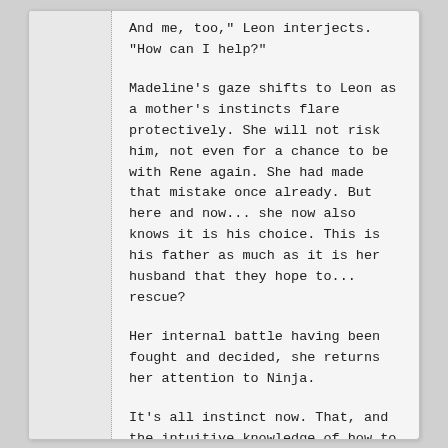And me, too," Leon interjects. "How can I help?"
Madeline's gaze shifts to Leon as a mother's instincts flare protectively. She will not risk him, not even for a chance to be with Rene again. She had made that mistake once already. But here and now... she now also knows it is his choice. This is his father as much as it is her husband that they hope to... rescue?
Her internal battle having been fought and decided, she returns her attention to Ninja.
It's all instinct now. That, and the intuitive knowledge of how to open the portals. Deer had said that she would have to straddle the worlds, and that implies a distance dangerously close from one portal to the other.